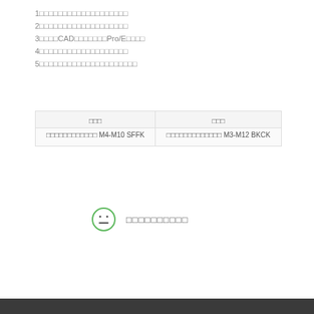1□□□□□□□□□□□□□□□□□□□
2□□□□□□□□□□□□□□□□□□□
3□□□□CAD□□□□□□□Pro/E□□□□
4□□□□□□□□□□□□□□□□□□□
5□□□□□□□□□□□□□□□□□□□□□
| □□□ | □□□ |
| --- | --- |
| □□□□□□□□□□□□ M4-M10 SFFK | □□□□□□□□□□□□□ M3-M12 BKCK |
[Figure (illustration): Neutral/neutral face emoji icon (circle with two dots for eyes and a flat line for mouth) in green outline, followed by Chinese characters text]
□□□□□□□□□□